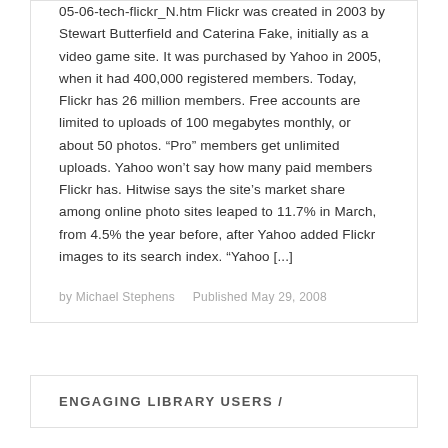05-06-tech-flickr_N.htm Flickr was created in 2003 by Stewart Butterfield and Caterina Fake, initially as a video game site. It was purchased by Yahoo in 2005, when it had 400,000 registered members. Today, Flickr has 26 million members. Free accounts are limited to uploads of 100 megabytes monthly, or about 50 photos. “Pro” members get unlimited uploads. Yahoo won’t say how many paid members Flickr has. Hitwise says the site’s market share among online photo sites leaped to 11.7% in March, from 4.5% the year before, after Yahoo added Flickr images to its search index. “Yahoo [...]
by Michael Stephens   Published May 29, 2008
ENGAGING LIBRARY USERS /